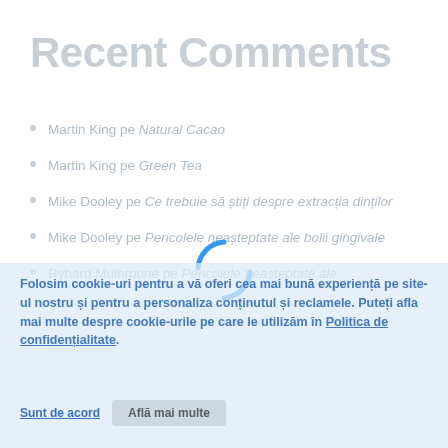Recent Comments
Martin King pe Natural Cacao
Martin King pe Green Tea
Mike Dooley pe Ce trebuie să știți despre extracția dinților
Mike Dooley pe Pericolele neașteptate ale bolii gingivale
Richard Mulhroune pe Pericolele neașteptate ale ...
[Figure (other): Loading spinner — two blue parenthesis-shaped arcs forming a circular loading indicator]
Folosim cookie-uri pentru a vă oferi cea mai bună experiență pe site-ul nostru și pentru a personaliza conținutul și reclamele. Puteți afla mai multe despre cookie-urile pe care le utilizăm în Politica de confidențialitate.
Sunt de acord        Află mai multe